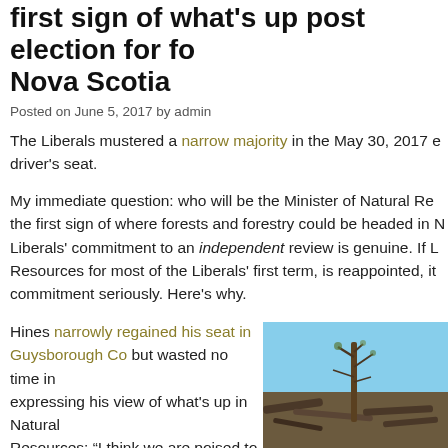first sign of what's up post election for forestry, Nova Scotia
Posted on June 5, 2017 by admin
The Liberals mustered a narrow majority in the May 30, 2017 e... driver's seat.
My immediate question: who will be the Minister of Natural Re... the first sign of where forests and forestry could be headed in N... Liberals' commitment to an independent review is genuine. If L... Resources for most of the Liberals' first term, is reappointed, it... commitment seriously. Here's why.
Hines narrowly regained his seat in Guysborough Co but wasted no time in expressing his view of what's up in Natural Resources: "I think we are poised to do exactly what we're saying and to unleash the province's natural value and unlock that value for..."
[Figure (photo): Photo of a lone tree standing in a clearcut forest area with debris around it and blue sky in background.]